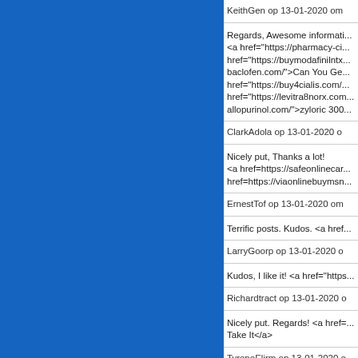KeithGen op 13-01-2020 om...
Regards, Awesome information <a href="https://pharmacy-ci... href="https://buymodafinilntx... baclofen.com/">Can You Ge... href="https://buy4cialis.com/... href="https://levitra8norx.com... allopurinol.com/">zyloric 300...
ClarkAdola op 13-01-2020 o...
Nicely put, Thanks a lot! <a href=https://safeonlinecana... href=https://viaonlinebuymsn...
ErnestTof op 13-01-2020 om...
Terrific posts. Kudos. <a href...
LarryGoorp op 13-01-2020 o...
Kudos, I like it! <a href="https...
Richardtract op 13-01-2020 o...
Nicely put. Regards! <a href=... Take It</a>
TyroneElirm op 13-01-2020 o...
Really quite a lot of fantastic...